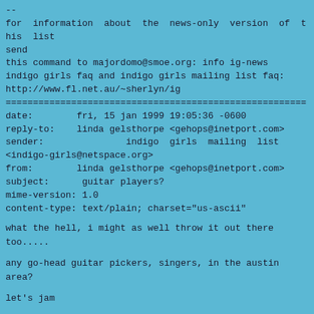--
for information about the news-only version of this list send
this command to majordomo@smoe.org: info ig-news
indigo girls faq and indigo girls mailing list faq:
http://www.fl.net.au/~sherlyn/ig
=====================================================
date:        fri, 15 jan 1999 19:05:36 -0600
reply-to:    linda gelsthorpe <gehops@inetport.com>
sender:                  indigo girls mailing list <indigo-girls@netspace.org>
from:        linda gelsthorpe <gehops@inetport.com>
subject:      guitar players?
mime-version: 1.0
content-type: text/plain; charset="us-ascii"
what the hell, i might as well throw it out there too.....
any go-head guitar pickers, singers, in the austin area?
let's jam
linda
--
for information about the news-only version of this list